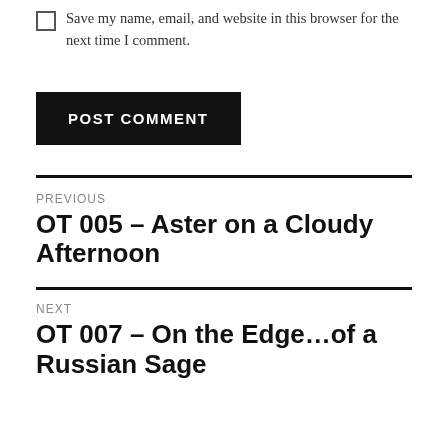Save my name, email, and website in this browser for the next time I comment.
POST COMMENT
PREVIOUS
OT 005 – Aster on a Cloudy Afternoon
NEXT
OT 007 – On the Edge…of a Russian Sage